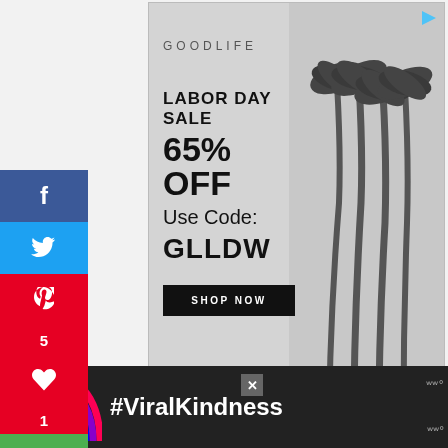[Figure (screenshot): Social media page screenshot showing a GoodLife Labor Day Sale advertisement banner with 65% OFF offer and code GLLDW, social sharing sidebar on the left with Facebook, Twitter, Pinterest (5), heart (1), and email buttons, right-side floating heart (6) and share buttons, a 'What's Next' panel showing '9 Mirror Decoration...' article, and a bottom dark banner with #ViralKindness text and rainbow graphic.]